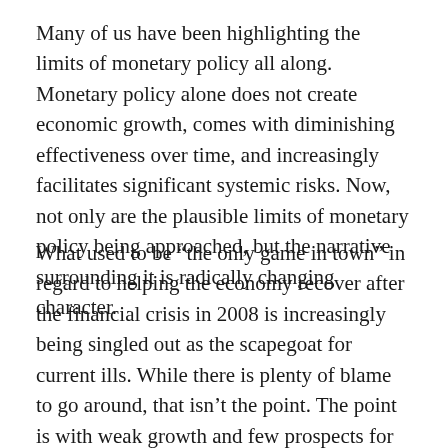Many of us have been highlighting the limits of monetary policy all along. Monetary policy alone does not create economic growth, comes with diminishing effectiveness over time, and increasingly facilitates significant systemic risks. Now, not only are the plausible limits of monetary policy being approached, but the narrative surrounding it is radically changing character.
What used to be “the only game in town” in regard to helping the economy recover after the financial crisis in 2008 is increasingly being singled out as the scapegoat for current ills. While there is plenty of blame to go around, that isn’t the point. The point is with weak growth and few prospects for significant improvement, the easier political path is to affix blame rather than to solve problems. An important implication is that if the